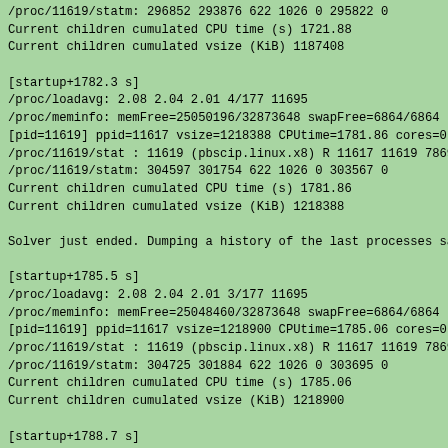/proc/11619/statm: 296852 293876 622 1026 0 295822 0
Current children cumulated CPU time (s) 1721.88
Current children cumulated vsize (KiB) 1187408

[startup+1782.3 s]
/proc/loadavg: 2.08 2.04 2.01 4/177 11695
/proc/meminfo: memFree=25050196/32873648 swapFree=6864/6864
[pid=11619] ppid=11617 vsize=1218388 CPUtime=1781.86 cores=0,
/proc/11619/stat : 11619 (pbscip.linux.x8) R 11617 11619 7869
/proc/11619/statm: 304597 301754 622 1026 0 303567 0
Current children cumulated CPU time (s) 1781.86
Current children cumulated vsize (KiB) 1218388

Solver just ended. Dumping a history of the last processes sa

[startup+1785.5 s]
/proc/loadavg: 2.08 2.04 2.01 3/177 11695
/proc/meminfo: memFree=25048460/32873648 swapFree=6864/6864
[pid=11619] ppid=11617 vsize=1218900 CPUtime=1785.06 cores=0,
/proc/11619/stat : 11619 (pbscip.linux.x8) R 11617 11619 7869
/proc/11619/statm: 304725 301884 622 1026 0 303695 0
Current children cumulated CPU time (s) 1785.06
Current children cumulated vsize (KiB) 1218900

[startup+1788.7 s]
/proc/loadavg: 2.07 2.03 2.01 4/177 11695
/proc/meminfo: memFree=25046724/32873648 swapFree=6864/6864
[pid=11619] ppid=11617 vsize=1220436 CPUtime=1788.26 cores=0,
/proc/11619/stat : 11619 (pbscip.linux.x8) R 11617 11619 7869
/proc/11619/statm: 305109 302241 622 1026 0 304079 0
Current children cumulated CPU time (s) 1788.26
Current children cumulated vsize (KiB) 1220436